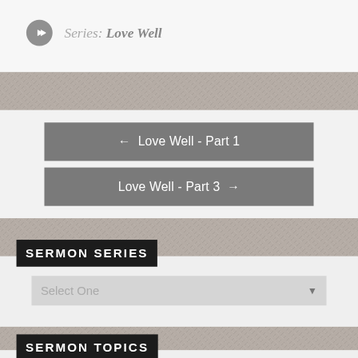Series: Love Well
← Love Well - Part 1
Love Well - Part 3 →
SERMON SERIES
Select One
SERMON TOPICS